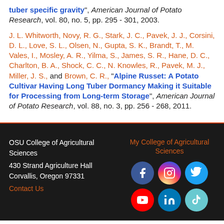tuber specific gravity", American Journal of Potato Research, vol. 80, no. 5, pp. 295 - 301, 2003.
J. L. Whitworth, Novy, R. G., Stark, J. C., Pavek, J. J., Corsini, D. L., Love, S. L., Olsen, N., Gupta, S. K., Brandt, T., M. Vales, I., Mosley, A. R., Yilma, S., James, S. R., Hane, D. C., Charlton, B. A., Shock, C. C., N. Knowles, R., Pavek, M. J., Miller, J. S., and Brown, C. R., "Alpine Russet: A Potato Cultivar Having Long Tuber Dormancy Making it Suitable for Processing from Long-term Storage", American Journal of Potato Research, vol. 88, no. 3, pp. 256 - 268, 2011.
OSU College of Agricultural Sciences
430 Strand Agriculture Hall
Corvallis, Oregon 97331
Contact Us
My College of Agricultural Sciences